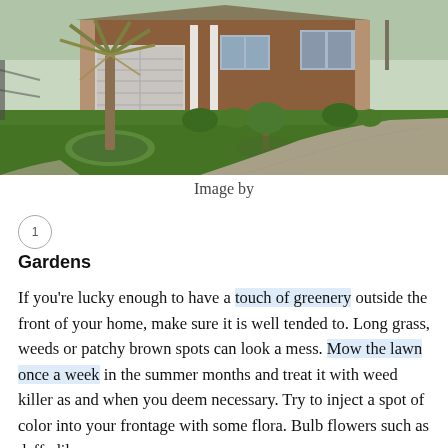[Figure (photo): Photograph of a suburban house with a well-maintained green front lawn, a palm tree, a curved concrete walkway, and a brick facade with garage.]
Image by
Gardens
If you're lucky enough to have a touch of greenery outside the front of your home, make sure it is well tended to. Long grass, weeds or patchy brown spots can look a mess. Mow the lawn once a week in the summer months and treat it with weed killer as and when you deem necessary. Try to inject a spot of color into your frontage with some flora. Bulb flowers such as daffodils